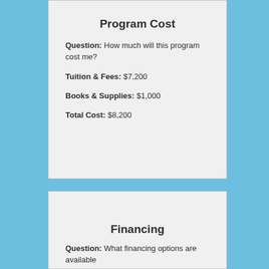Program Cost
Question: How much will this program cost me?
Tuition & Fees: $7,200
Books & Supplies: $1,000
Total Cost: $8,200
Financing
Question: What financing options are available